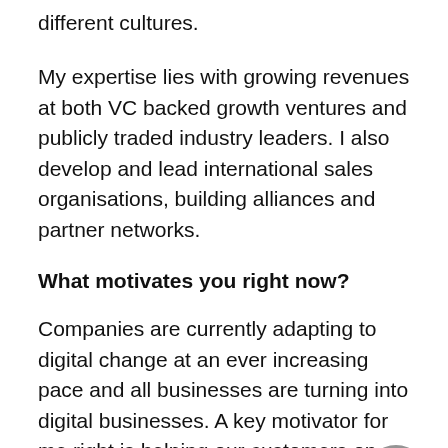different cultures.
My expertise lies with growing revenues at both VC backed growth ventures and publicly traded industry leaders. I also develop and lead international sales organisations, building alliances and partner networks.
What motivates you right now?
Companies are currently adapting to digital change at an ever increasing pace and all businesses are turning into digital businesses. A key motivator for me right is helping our customers on their journey to becoming a